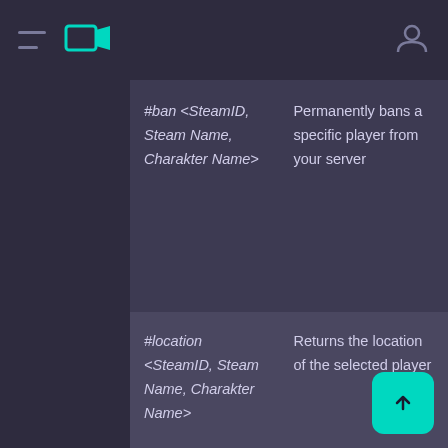Navigation bar with hamburger menu, logo, and user icon
| Command | Description |
| --- | --- |
| #ban <SteamID, Steam Name, Charakter Name> | Permanently bans a specific player from your server |
| #location <SteamID, Steam Name, Charakter Name> | Returns the location of the selected player |
| #listAssets Item <filter> | Displays a list of items that can be spawned. The filter is optional. For example, if you use “wood” as a filter, all |